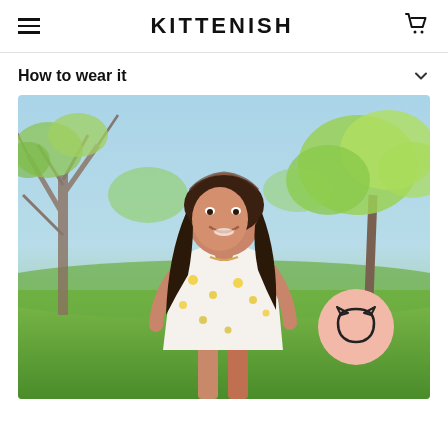KITTENISH
How to wear it
[Figure (photo): Woman with long dark hair wearing a white floral (lemon print) dress, smiling outdoors with trees and blue sky in background. A pink circle with a cat face logo is overlaid in the lower right of the photo.]